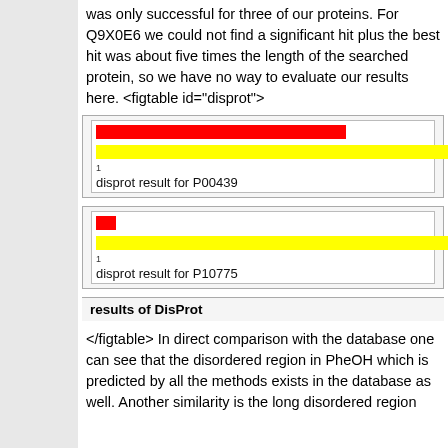was only successful for three of our proteins. For Q9X0E6 we could not find a significant hit plus the best hit was about five times the length of the searched protein, so we have no way to evaluate our results here. <figtable id="disprot">
[Figure (bar-chart): Two horizontal bars: a red bar and a yellow bar showing disprot results for P00439]
[Figure (bar-chart): Two horizontal bars: a small red bar and a yellow bar showing disprot results for P10775]
results of DisProt
</figtable> In direct comparison with the database one can see that the disordered region in PheOH which is predicted by all the methods exists in the database as well. Another similarity is the long disordered region